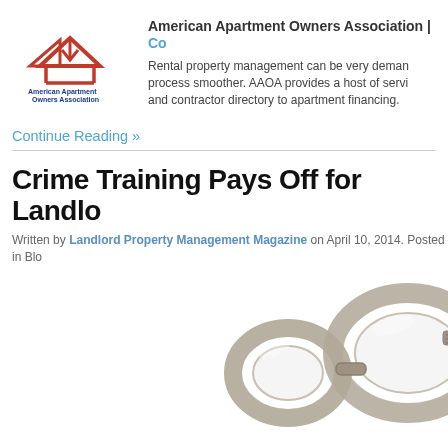[Figure (logo): American Apartment Owners Association logo with red house/arrow graphic and blue text]
American Apartment Owners Association | Co...
Rental property management can be very deman... process smoother. AAOA provides a host of servi... and contractor directory to apartment financing.
Continue Reading »
Crime Training Pays Off for Landlo...
Written by Landlord Property Management Magazine on April 10, 2014. Posted in Blo...
[Figure (photo): Close-up photo of silver metal handcuffs on white background]